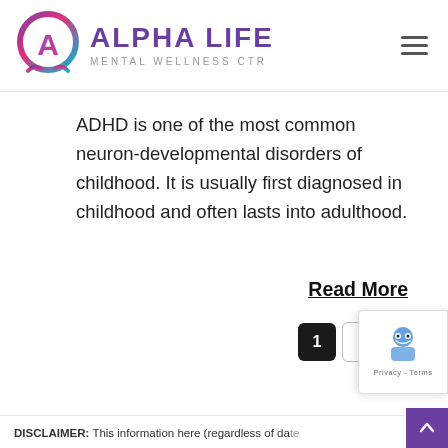[Figure (logo): Alpha Life Mental Wellness CTR logo with purple circular icon containing letter A and text]
ADHD is one of the most common neuron-developmental disorders of childhood. It is usually first diagnosed in childhood and often lasts into adulthood.
Read More
1  2  ›
[Figure (other): reCAPTCHA badge with robot icon, Privacy and Terms links]
DISCLAIMER: This information here (regardless of date